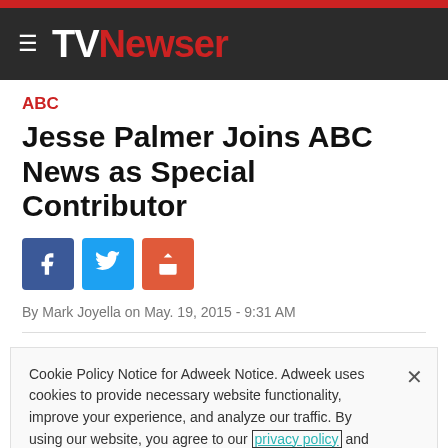TVNewser
ABC
Jesse Palmer Joins ABC News as Special Contributor
By Mark Joyella on May. 19, 2015 - 9:31 AM
Cookie Policy Notice for Adweek Notice. Adweek uses cookies to provide necessary website functionality, improve your experience, and analyze our traffic. By using our website, you agree to our privacy policy and our cookies usage.
Cookies Settings | Accept All Cookies